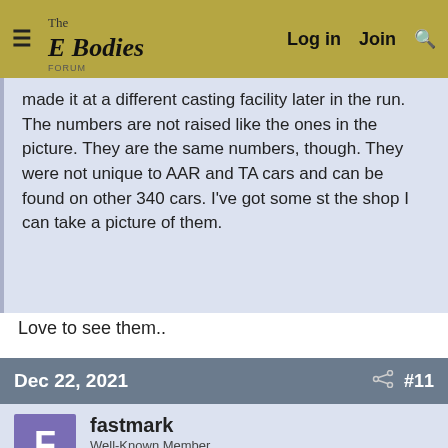The E Bodies Forum — Log in | Join | Search
made it at a different casting facility later in the run. The numbers are not raised like the ones in the picture. They are the same numbers, though. They were not unique to AAR and TA cars and can be found on other 340 cars. I've got some st the shop I can take a picture of them.
Love to see them..
Dec 22, 2021  #11
fastmark
Well-Known Member
Rating - 0%
Joined: Apr 2, 2014
Messages: 165
Reaction score: 58
Hmm, all of what I remember seeing have the later style as you are calling it. Those manifolds posted on eBay are expensive to say the least. The ones I have are much nicer. Having been in